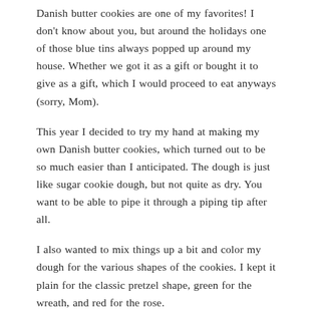Danish butter cookies are one of my favorites! I don't know about you, but around the holidays one of those blue tins always popped up around my house. Whether we got it as a gift or bought it to give as a gift, which I would proceed to eat anyways (sorry, Mom).
This year I decided to try my hand at making my own Danish butter cookies, which turned out to be so much easier than I anticipated. The dough is just like sugar cookie dough, but not quite as dry. You want to be able to pipe it through a piping tip after all.
I also wanted to mix things up a bit and color my dough for the various shapes of the cookies. I kept it plain for the classic pretzel shape, green for the wreath, and red for the rose.